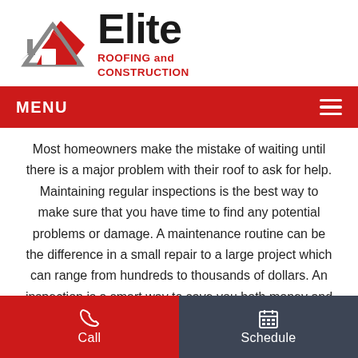[Figure (logo): Elite Roofing and Construction logo with grey and red roof/house icon and bold black 'Elite' text with red 'ROOFING and CONSTRUCTION' subtitle]
MENU
Most homeowners make the mistake of waiting until there is a major problem with their roof to ask for help. Maintaining regular inspections is the best way to make sure that you have time to find any potential problems or damage. A maintenance routine can be the difference in a small repair to a large project which can range from hundreds to thousands of dollars. An inspection is a smart way to save you both money and time. Whether you need a detailed roofing
Call   Schedule